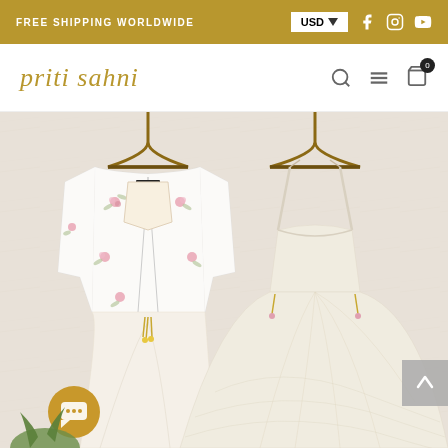FREE SHIPPING WORLDWIDE
priti sahni
[Figure (photo): Product photo showing a white embroidered lehenga set with a sheer jacket/blouse with pink floral embroidery details and a spaghetti-strap skirt hung on wooden hangers against a white textured wall.]